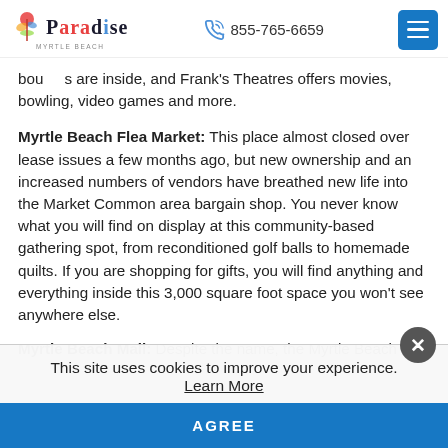Paradise Myrtle Beach | 855-765-6659
boutiques are inside, and Frank's Theatres offers movies, bowling, video games and more.
Myrtle Beach Flea Market: This place almost closed over lease issues a few months ago, but new ownership and an increased numbers of vendors have breathed new life into the Market Common area bargain shop. You never know what you will find on display at this community-based gathering spot, from reconditioned golf balls to homemade quilts. If you are shopping for gifts, you will find anything and everything inside this 3,000 square foot space you won't see anywhere else.
Myrtle Beach Mall: Despite the name, the Myrtle Beach
This site uses cookies to improve your experience. Learn More
AGREE